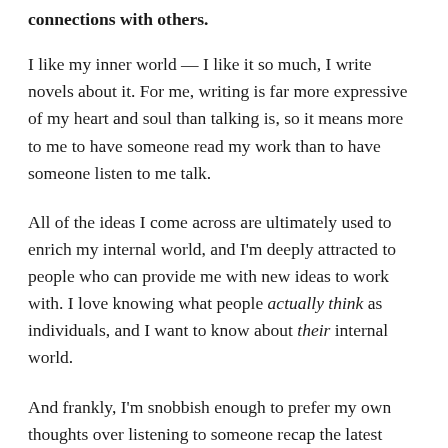connections with others.
I like my inner world — I like it so much, I write novels about it. For me, writing is far more expressive of my heart and soul than talking is, so it means more to me to have someone read my work than to have someone listen to me talk.
All of the ideas I come across are ultimately used to enrich my internal world, and I'm deeply attracted to people who can provide me with new ideas to work with. I love knowing what people actually think as individuals, and I want to know about their internal world.
And frankly, I'm snobbish enough to prefer my own thoughts over listening to someone recap the latest Disney movie. Uh huh. There's a dragon. How nice. I could